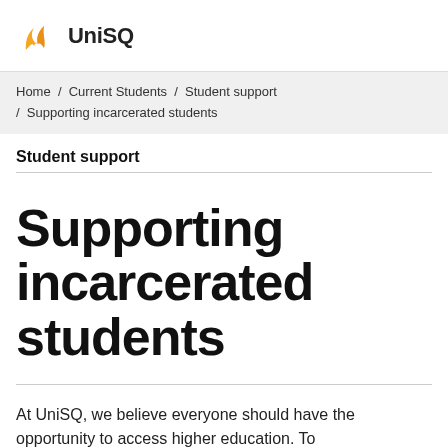UniSQ
Home / Current Students / Student support / Supporting incarcerated students
Student support
Supporting incarcerated students
At UniSQ, we believe everyone should have the opportunity to access higher education. To